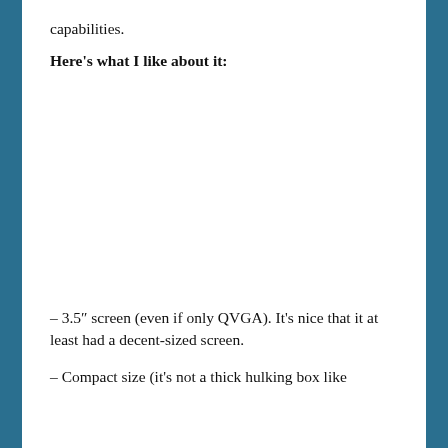capabilities.
Here's what I like about it:
– 3.5″ screen (even if only QVGA). It's nice that it at least had a decent-sized screen.
– Compact size (it's not a thick hulking box like